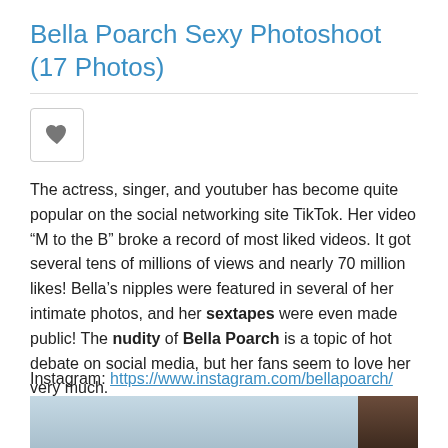Bella Poarch Sexy Photoshoot (17 Photos)
[Figure (other): Heart / like button icon in a rounded square box]
The actress, singer, and youtuber has become quite popular on the social networking site TikTok. Her video “M to the B” broke a record of most liked videos. It got several tens of millions of views and nearly 70 million likes! Bella’s nipples were featured in several of her intimate photos, and her sextapes were even made public! The nudity of Bella Poarch is a topic of hot debate on social media, but her fans seem to love her very much.
Instagram: https://www.instagram.com/bellapoarch/
[Figure (photo): Partial photo strip at the bottom of the page showing a light blue/sky area on the left and a dark brown area on the right]